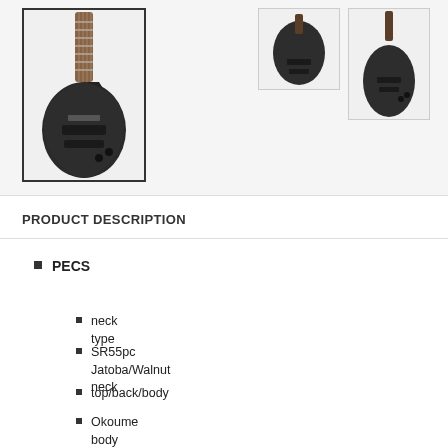[Figure (photo): Main product image of a dark gray/black Ibanez SR5 bass guitar shown at an angle with a brown/jatoba fretboard, body and headstock visible]
[Figure (photo): Front-facing thumbnail view of a dark bass guitar body]
[Figure (photo): Front-facing thumbnail of dark bass guitar, full body view]
PRODUCT DESCRIPTION
PECS
neck type
SR55pc Jatoba/Walnut neck
top/back/body
Okoume body